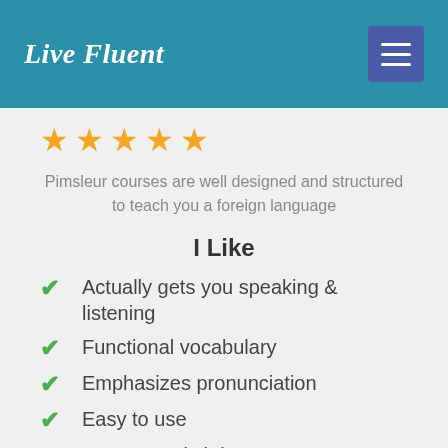Live Fluent
[Figure (other): Five gold star rating]
Pimsleur courses are well designed and structured to teach you a foreign language
I Like
Actually gets you speaking & listening
Functional vocabulary
Emphasizes pronunciation
Easy to use
You can switch between